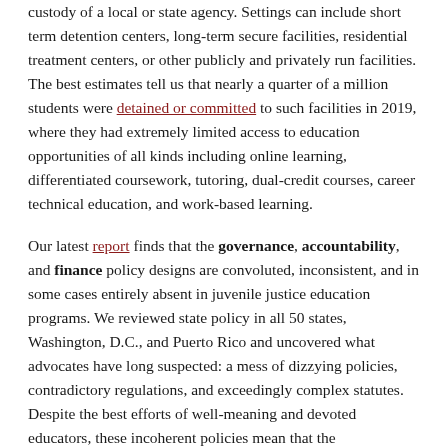custody of a local or state agency. Settings can include short term detention centers, long-term secure facilities, residential treatment centers, or other publicly and privately run facilities. The best estimates tell us that nearly a quarter of a million students were detained or committed to such facilities in 2019, where they had extremely limited access to education opportunities of all kinds including online learning, differentiated coursework, tutoring, dual-credit courses, career technical education, and work-based learning.
Our latest report finds that the governance, accountability, and finance policy designs are convoluted, inconsistent, and in some cases entirely absent in juvenile justice education programs. We reviewed state policy in all 50 states, Washington, D.C., and Puerto Rico and uncovered what advocates have long suspected: a mess of dizzying policies, contradictory regulations, and exceedingly complex statutes. Despite the best efforts of well-meaning and devoted educators, these incoherent policies mean that the